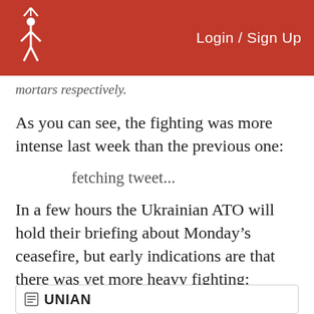Login / Sign Up
mortars respectively.
As you can see, the fighting was more intense last week than the previous one:
fetching tweet...
In a few hours the Ukrainian ATO will hold their briefing about Monday’s ceasefire, but early indications are that there was yet more heavy fighting:
[Figure (screenshot): UNIAN news widget box at bottom of page]